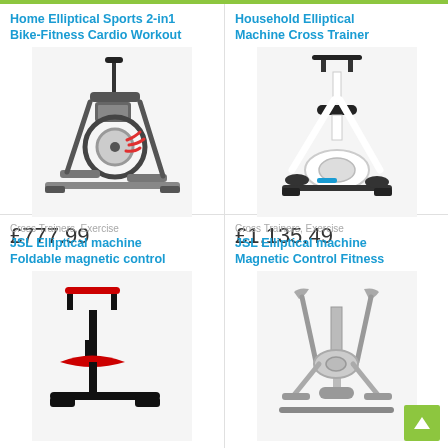[Figure (photo): Home Elliptical Sports 2-in1 Bike-Fitness Cardio Workout machine product image]
Home Elliptical Sports 2-in1 Bike-Fitness Cardio Workout
£777.99
[Figure (photo): Household Elliptical Machine Cross Trainer product image]
Household Elliptical Machine Cross Trainer
£1,135.49
Cross Trainers, Exercise
JSL Elliptical machine Foldable magnetic control
[Figure (photo): JSL Elliptical machine Foldable magnetic control - red exercise bike product image]
Cross Trainers, Exercise
JSL Elliptical machine Magnetic Control Fitness
[Figure (photo): JSL Elliptical machine Magnetic Control Fitness - silver elliptical trainer product image]